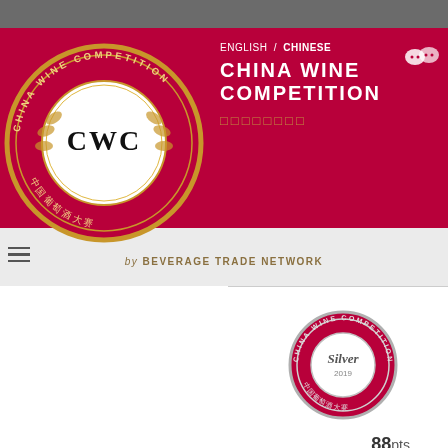[Figure (logo): China Wine Competition (CWC) circular logo with gold decorative border and Chinese characters, on crimson background]
CHINA WINE COMPETITION
ENGLISH / CHINESE
中国葡萄酒大赛
by BEVERAGE TRADE NETWORK
[Figure (logo): China Wine Competition Silver 2019 circular medal badge]
88 points